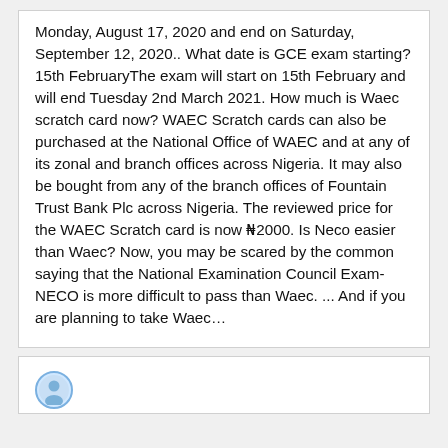Monday, August 17, 2020 and end on Saturday, September 12, 2020.. What date is GCE exam starting? 15th FebruaryThe exam will start on 15th February and will end Tuesday 2nd March 2021. How much is Waec scratch card now? WAEC Scratch cards can also be purchased at the National Office of WAEC and at any of its zonal and branch offices across Nigeria. It may also be bought from any of the branch offices of Fountain Trust Bank Plc across Nigeria. The reviewed price for the WAEC Scratch card is now ₦2000. Is Neco easier than Waec? Now, you may be scared by the common saying that the National Examination Council Exam-NECO is more difficult to pass than Waec. ... And if you are planning to take Waec…